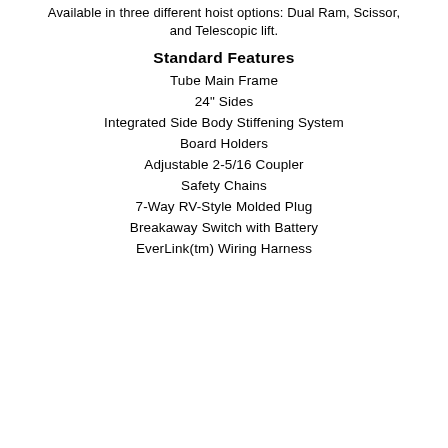Available in three different hoist options: Dual Ram, Scissor, and Telescopic lift.
Standard Features
Tube Main Frame
24" Sides
Integrated Side Body Stiffening System
Board Holders
Adjustable 2-5/16 Coupler
Safety Chains
7-Way RV-Style Molded Plug
Breakaway Switch with Battery
EverLink(tm) Wiring Harness